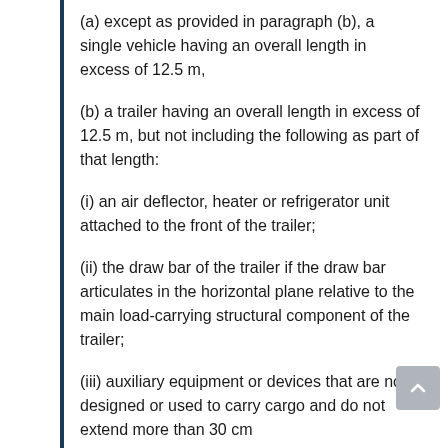(a) except as provided in paragraph (b), a single vehicle having an overall length in excess of 12.5 m,
(b) a trailer having an overall length in excess of 12.5 m, but not including the following as part of that length:
(i) an air deflector, heater or refrigerator unit attached to the front of the trailer;
(ii) the draw bar of the trailer if the draw bar articulates in the horizontal plane relative to the main load-carrying structural component of the trailer;
(iii) auxiliary equipment or devices that are not designed or used to carry cargo and do not extend more than 30 cm